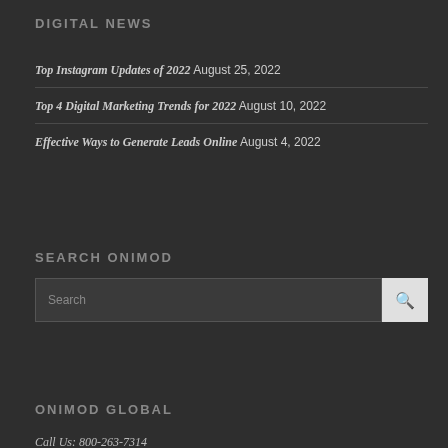DIGITAL NEWS
Top Instagram Updates of 2022 August 25, 2022
Top 4 Digital Marketing Trends for 2022 August 10, 2022
Effective Ways to Generate Leads Online August 4, 2022
SEARCH ONIMOD
Search [search box]
ONIMOD GLOBAL
Call Us: 800-000-0000